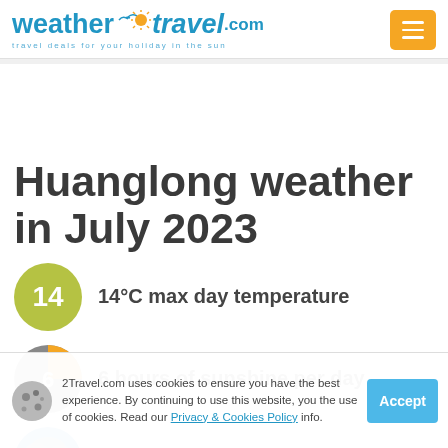[Figure (logo): weather2travel.com logo with sun icon and tagline 'travel deals for your holiday in the sun']
Huanglong weather in July 2023
14°C max day temperature
6 hours of sunshine per day
23
2Travel.com uses cookies to ensure you have the best experience. By continuing to use this website, you the use of cookies. Read our Privacy & Cookies Policy info.